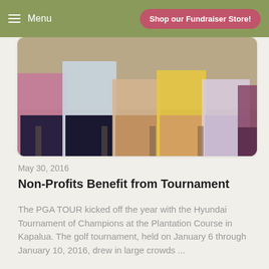Menu | Shop our Fundraiser Store!
[Figure (photo): Group of people seated in chairs, partially cropped, visible from waist down, wearing colorful clothing]
May 30, 2016
Non-Profits Benefit from Tournament
The PGA TOUR kicked off the year with the Hyundai Tournament of Champions at the Plantation Course in Kapalua. The golf tournament, held on January 6 through January 10, 2016, drew in large crowds ...
Read more
Tags: Hyundai Tournament, Tournament of Champions, Community Giving, Volunteers